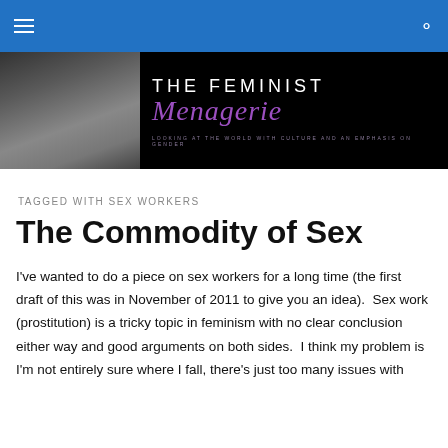THE FEMINIST Menagerie
[Figure (photo): Website banner with photo on left showing a dark urban/street scene, and The Feminist Menagerie logo text on black background on the right with purple script]
TAGGED WITH SEX WORKERS
The Commodity of Sex
I've wanted to do a piece on sex workers for a long time (the first draft of this was in November of 2011 to give you an idea).  Sex work (prostitution) is a tricky topic in feminism with no clear conclusion either way and good arguments on both sides.  I think my problem is I'm not entirely sure where I fall, there's just too many issues with